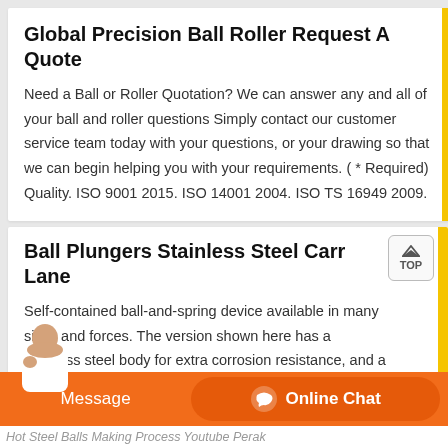Global Precision Ball Roller Request A Quote
Need a Ball or Roller Quotation? We can answer any and all of your ball and roller questions Simply contact our customer service team today with your questions, or your drawing so that we can begin helping you with your requirements. ( * Required) Quality. ISO 9001 2015. ISO 14001 2004. ISO TS 16949 2009.
Ball Plungers Stainless Steel Carr Lane
Self-contained ball-and-spring device available in many sizes and forces. The version shown here has a stainless steel body for extra corrosion resistance, and a 440C stainless steel ball. Available in a wide range of thread sizes from 4-48 to 5/8-11 (M3 to M16 in metric), most with a choice of light, medium, or heavy spring force.
[Figure (other): Orange bottom bar with Message button and Online Chat button, plus a customer service person avatar on the left]
Hot Steel Balls Making Process Youtube Perak